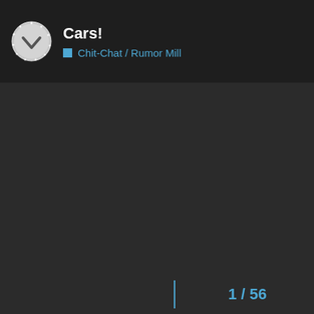Cars!
Chit-Chat / Rumor Mill
1 / 56